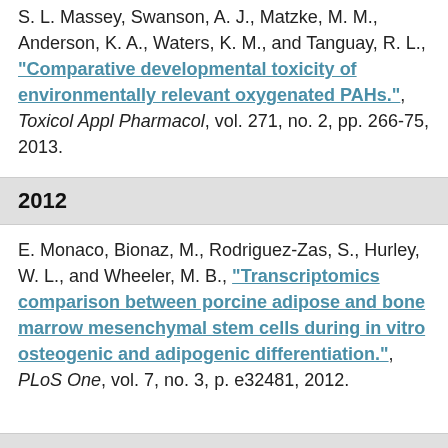S. L. Massey, Swanson, A. J., Matzke, M. M., Anderson, K. A., Waters, K. M., and Tanguay, R. L., "Comparative developmental toxicity of environmentally relevant oxygenated PAHs.", Toxicol Appl Pharmacol, vol. 271, no. 2, pp. 266-75, 2013.
2012
E. Monaco, Bionaz, M., Rodriguez-Zas, S., Hurley, W. L., and Wheeler, M. B., "Transcriptomics comparison between porcine adipose and bone marrow mesenchymal stem cells during in vitro osteogenic and adipogenic differentiation.", PLoS One, vol. 7, no. 3, p. e32481, 2012.